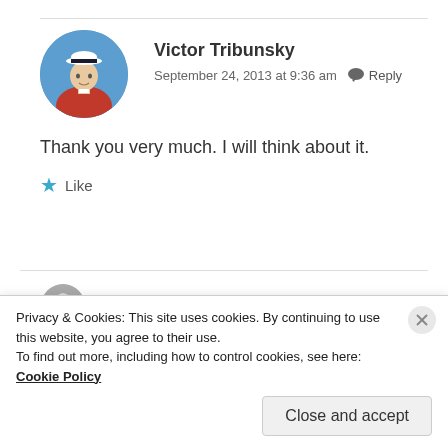Victor Tribunsky
September 24, 2013 at 9:36 am   Reply
Thank you very much. I will think about it.
★ Like
[Figure (photo): Circular avatar photo of a man in a red shirt and white captain's hat, blue sky background]
[Figure (photo): Small circular avatar of a person]
Privacy & Cookies: This site uses cookies. By continuing to use this website, you agree to their use.
To find out more, including how to control cookies, see here: Cookie Policy
Close and accept